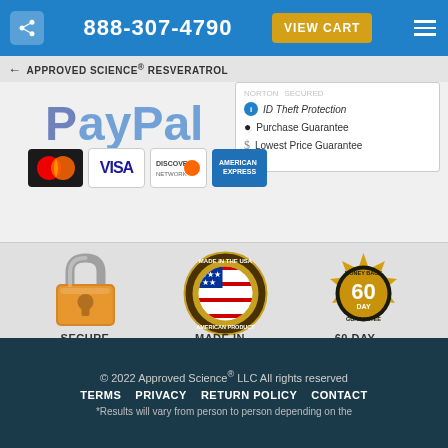888-307-4790 | VIEW CART
← APPROVED SCIENCE® RESVERATROL
[Figure (logo): PayPal logo faded blue]
[Figure (infographic): Trust box with ID Theft Protection, Purchase Guarantee, Lowest Price Guarantee]
[Figure (logo): Payment logos: MasterCard, VISA, Discover, American Express]
[Figure (illustration): Padlock icon for Secure Checkout]
SECURE
CHECKOUT
[Figure (illustration): Made in the USA American product badge]
MADE IN
THE USA
[Figure (illustration): 60 Day Money Back Guarantee gold badge]
60 DAY
MONEY BACK
© 2022 Approved Science® LLC All rights reserved | TERMS | PRIVACY | RETURN POLICY | CONTACT | *Results will vary from person to person depending on the